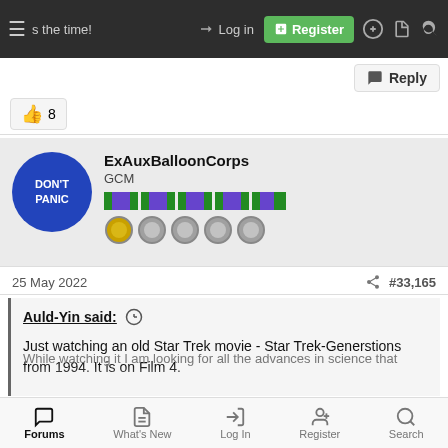Log in | Register
👍 8
ExAuxBalloonCorps
GCM
25 May 2022 #33,165
Auld-Yin said:
Just watching an old Star Trek movie - Star Trek-Generstions from 1994. It is on Film 4.
Forums | What's New | Log In | Register | Search